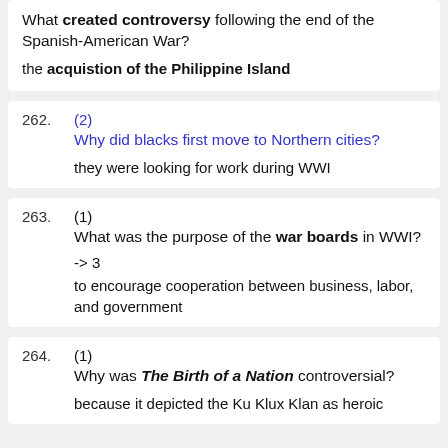What created controversy following the end of the Spanish-American War?
the acquistion of the Philippine Island
262. (2) Why did blacks first move to Northern cities?
they were looking for work during WWI
263. (1) What was the purpose of the war boards in WWI? -> 3
to encourage cooperation between business, labor, and government
264. (1) Why was The Birth of a Nation controversial?
because it depicted the Ku Klux Klan as heroic